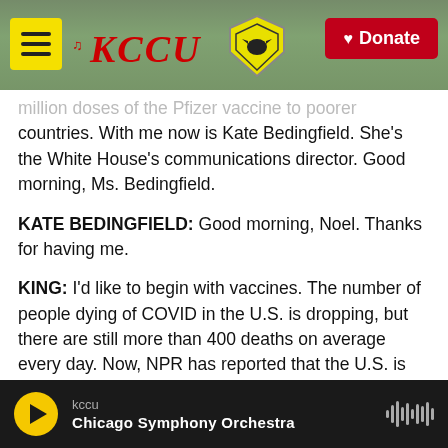KCCU - Donate
million doses of the Pfizer vaccine to poorer countries. With me now is Kate Bedingfield. She's the White House's communications director. Good morning, Ms. Bedingfield.
KATE BEDINGFIELD: Good morning, Noel. Thanks for having me.
KING: I'd like to begin with vaccines. The number of people dying of COVID in the U.S. is dropping, but there are still more than 400 deaths on average every day. Now, NPR has reported that the U.S. is on track to have more vaccines than it will need, but I know some people question whether now is
kccu | Chicago Symphony Orchestra